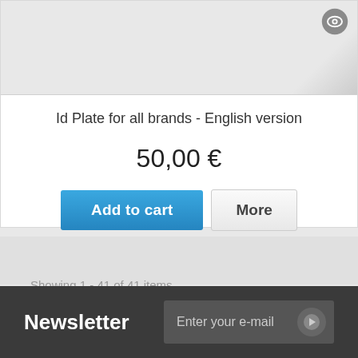[Figure (screenshot): Product card top area with grey gradient background and a circular eye/view icon in the top-right corner]
Id Plate for all brands - English version
50,00 €
Add to cart
More
Showing 1 - 41 of 41 items
Newsletter
Enter your e-mail